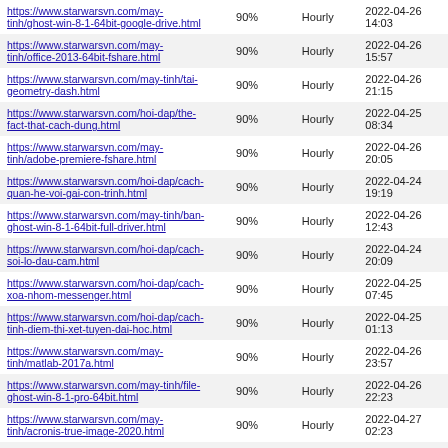| URL | Priority | Change freq. | Last modified |
| --- | --- | --- | --- |
| https://www.starwarsvn.com/may-tinh/ghost-win-8-1-64bit-google-drive.html | 90% | Hourly | 2022-04-26 14:03 |
| https://www.starwarsvn.com/may-tinh/office-2013-64bit-fshare.html | 90% | Hourly | 2022-04-26 15:57 |
| https://www.starwarsvn.com/may-tinh/tai-geometry-dash.html | 90% | Hourly | 2022-04-26 21:15 |
| https://www.starwarsvn.com/hoi-dap/the-fact-that-cach-dung.html | 90% | Hourly | 2022-04-25 08:34 |
| https://www.starwarsvn.com/may-tinh/adobe-premiere-fshare.html | 90% | Hourly | 2022-04-26 20:05 |
| https://www.starwarsvn.com/hoi-dap/cach-quan-he-voi-gai-con-trinh.html | 90% | Hourly | 2022-04-24 19:19 |
| https://www.starwarsvn.com/may-tinh/ban-ghost-win-8-1-64bit-full-driver.html | 90% | Hourly | 2022-04-26 12:43 |
| https://www.starwarsvn.com/hoi-dap/cach-soi-lo-dau-cam.html | 90% | Hourly | 2022-04-24 20:09 |
| https://www.starwarsvn.com/hoi-dap/cach-xoa-nhom-messenger.html | 90% | Hourly | 2022-04-25 07:45 |
| https://www.starwarsvn.com/hoi-dap/cach-tinh-diem-thi-xet-tuyen-dai-hoc.html | 90% | Hourly | 2022-04-25 01:13 |
| https://www.starwarsvn.com/may-tinh/matlab-2017a.html | 90% | Hourly | 2022-04-26 23:57 |
| https://www.starwarsvn.com/may-tinh/file-ghost-win-8-1-pro-64bit.html | 90% | Hourly | 2022-04-26 22:23 |
| https://www.starwarsvn.com/may-tinh/acronis-true-image-2020.html | 90% | Hourly | 2022-04-27 02:23 |
| https://www.starwarsvn.com/may-tinh/crack-win-7-one-click.html | 90% | Hourly | 2022-04-27 00:24 |
Generated with Google (XML) Sitemaps Generator Plugin for WordPress by Auctollo. This XSLT template is released under the GPL and free to use. If you have problems with your sitemap please visit the support forum.